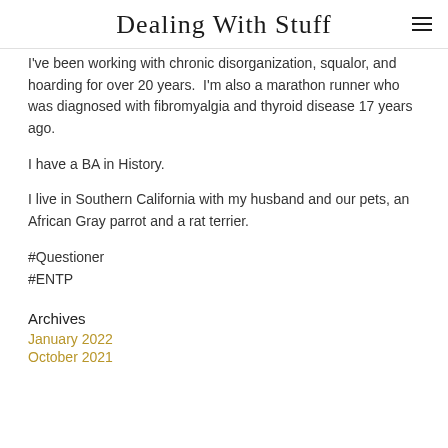Dealing With Stuff
I've been working with chronic disorganization, squalor, and hoarding for over 20 years. I'm also a marathon runner who was diagnosed with fibromyalgia and thyroid disease 17 years ago.
I have a BA in History.
I live in Southern California with my husband and our pets, an African Gray parrot and a rat terrier.
#Questioner
#ENTP
Archives
January 2022
October 2021